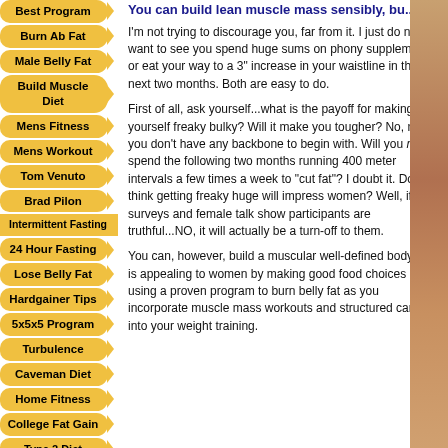Best Program
Burn Ab Fat
Male Belly Fat
Build Muscle Diet
Mens Fitness
Mens Workout
Tom Venuto
Brad Pilon
Intermittent Fasting
24 Hour Fasting
Lose Belly Fat
Hardgainer Tips
5x5x5 Program
Turbulence
Caveman Diet
Home Fitness
College Fat Gain
Type 2 Diet
You can build lean muscle mass sensibly, bu...
I'm not trying to discourage you, far from it. I just do not want to see you spend huge sums on phony supplements or eat your way to a 3" increase in your waistline in the next two months. Both are easy to do.
First of all, ask yourself...what is the payoff for making yourself freaky bulky? Will it make you tougher? No, not if you don't have any backbone to begin with. Will you really spend the following two months running 400 meter intervals a few times a week to "cut fat"? I doubt it. Do you think getting freaky huge will impress women? Well, if surveys and female talk show participants are truthful...NO, it will actually be a turn-off to them.
You can, however, build a muscular well-defined body that is appealing to women by making good food choices and using a proven program to burn belly fat as you incorporate muscle mass workouts and structured cardio into your weight training.